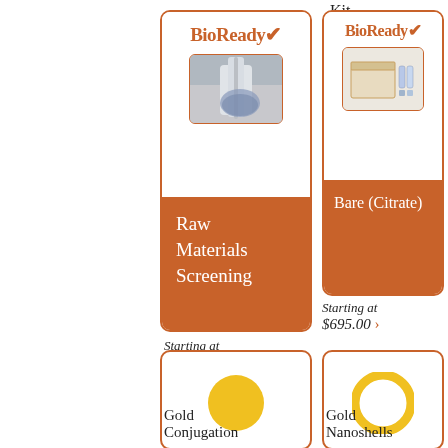Kit
[Figure (infographic): BioReady product card: Raw Materials Screening. White top section with BioReady logo and photo of gloved hand with swab. Orange bottom with text 'Raw Materials Screening'.]
Starting at
$745.00 ›
[Figure (infographic): BioReady product card: Bare (Citrate) Kit. White top section with BioReady logo and photo of kit/box. Orange bottom with text 'Bare (Citrate)'.]
Starting at
$695.00 ›
[Figure (infographic): Product card showing a solid gold/yellow circle representing Gold Conjugation product. Text below reads 'Gold Conjugation'.]
[Figure (infographic): Product card showing a gold/yellow ring (hollow circle) representing Gold Nanoshells product. Text below reads 'Gold Nanoshells'.]